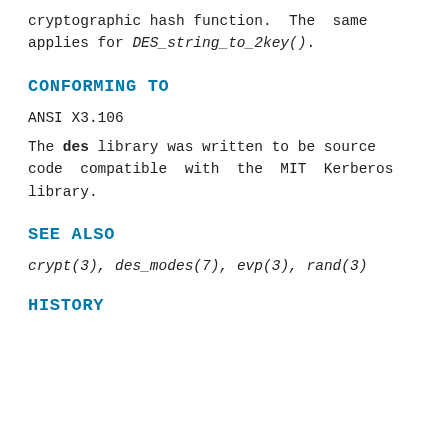cryptographic hash function. The same applies for DES_string_to_2key().
CONFORMING TO
ANSI X3.106
The des library was written to be source code compatible with the MIT Kerberos library.
SEE ALSO
crypt(3), des_modes(7), evp(3), rand(3)
HISTORY
...